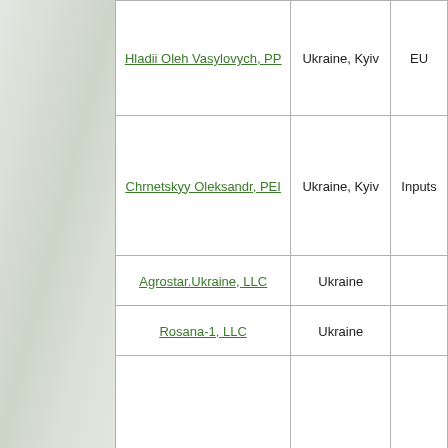| Company | Location | Type |
| --- | --- | --- |
| Hladii Oleh Vasylovych, PP | Ukraine, Kyiv | EU |
| Chrnetskyy Oleksandr, PEI | Ukraine, Kyiv | Inputs |
| Agrostar.Ukraine, LLC | Ukraine |  |
| Rosana-1, LLC | Ukraine |  |
| Marjan Group, LTD | Ukraine, Odesa | EU |